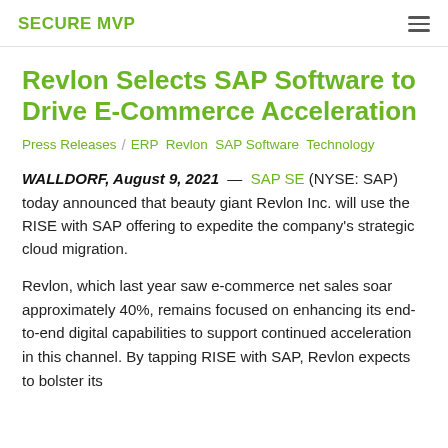SECURE MVP
Revlon Selects SAP Software to Drive E-Commerce Acceleration
Press Releases / ERP Revlon SAP Software Technology
WALLDORF, August 9, 2021 — SAP SE (NYSE: SAP) today announced that beauty giant Revlon Inc. will use the RISE with SAP offering to expedite the company's strategic cloud migration.
Revlon, which last year saw e-commerce net sales soar approximately 40%, remains focused on enhancing its end-to-end digital capabilities to support continued acceleration in this channel. By tapping RISE with SAP, Revlon expects to bolster its